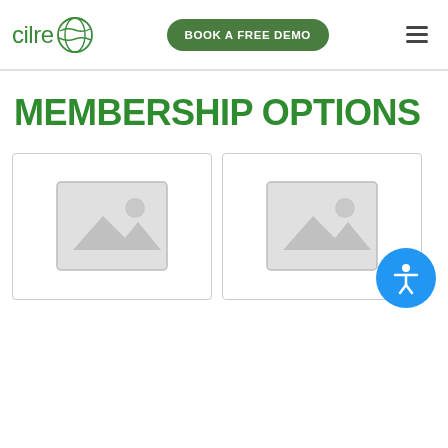[Figure (logo): Cilre logo with green text and circular globe-like icon]
[Figure (other): Book a Free Demo green rounded button]
[Figure (other): Hamburger menu icon (three horizontal lines)]
MEMBERSHIP OPTIONS
[Figure (other): Blue circle accessibility button with white person icon]
[Figure (other): Product placeholder card 1 with image placeholder icon]
[Figure (other): Product placeholder card 2 with image placeholder icon (partially visible)]